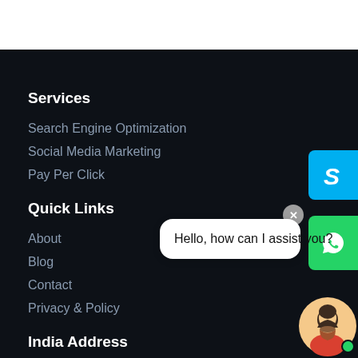Services
Search Engine Optimization
Social Media Marketing
Pay Per Click
Quick Links
About
Blog
Contact
Privacy & Policy
India Address
[Figure (screenshot): Skype icon button (cyan/blue) on the right edge]
[Figure (screenshot): WhatsApp chat widget with close button (gray X circle) and green WhatsApp icon, speech bubble saying 'Hello, how can I assist you?', and avatar with online indicator]